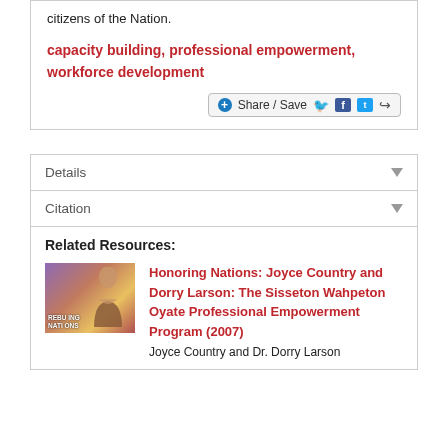citizens of the Nation.
capacity building, professional empowerment, workforce development
Details
Citation
Related Resources:
[Figure (photo): Thumbnail image showing a person with text 'REBUILDING NATIONS' overlay]
Honoring Nations: Joyce Country and Dorry Larson: The Sisseton Wahpeton Oyate Professional Empowerment Program (2007)
Joyce Country and Dr. Dorry Larson